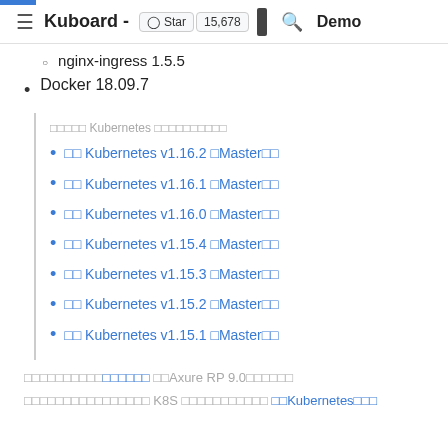≡ Kuboard - ⭐ Star 15,678 | 🔍 Demo
nginx-ingress 1.5.5
Docker 18.09.7
□□□□□ Kubernetes □□□□□□□□□□
□□ Kubernetes v1.16.2 □Master□□
□□ Kubernetes v1.16.1 □Master□□
□□ Kubernetes v1.16.0 □Master□□
□□ Kubernetes v1.15.4 □Master□□
□□ Kubernetes v1.15.3 □Master□□
□□ Kubernetes v1.15.2 □Master□□
□□ Kubernetes v1.15.1 □Master□□
□□□□□□□□□□□□□□□ □□Axure RP 9.0□□□□□□
□□□□□□□□□□□□□□□□ K8S □□□□□□□□□□□ □□Kubernetes□□□